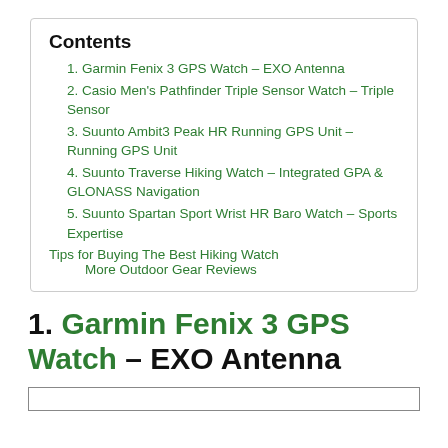Contents
1. Garmin Fenix 3 GPS Watch – EXO Antenna
2. Casio Men's Pathfinder Triple Sensor Watch – Triple Sensor
3. Suunto Ambit3 Peak HR Running GPS Unit – Running GPS Unit
4. Suunto Traverse Hiking Watch – Integrated GPA & GLONASS Navigation
5. Suunto Spartan Sport Wrist HR Baro Watch – Sports Expertise
Tips for Buying The Best Hiking Watch
More Outdoor Gear Reviews
1. Garmin Fenix 3 GPS Watch – EXO Antenna